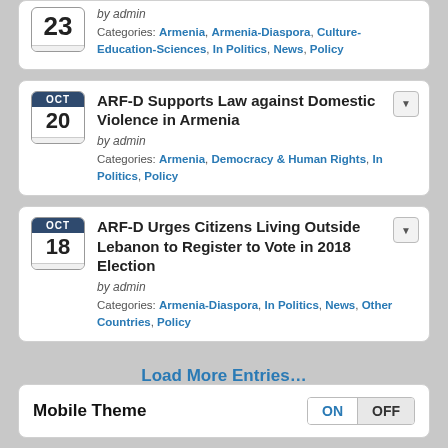23 - science ecosystem by admin Categories: Armenia, Armenia-Diaspora, Culture-Education-Sciences, In Politics, News, Policy
OCT 20 - ARF-D Supports Law against Domestic Violence in Armenia by admin Categories: Armenia, Democracy & Human Rights, In Politics, Policy
OCT 18 - ARF-D Urges Citizens Living Outside Lebanon to Register to Vote in 2018 Election by admin Categories: Armenia-Diaspora, In Politics, News, Other Countries, Policy
Load More Entries…
Mobile Theme ON OFF